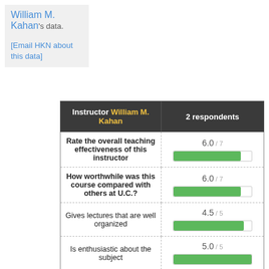William M. Kahan's data.
[Email HKN about this data]
| Instructor William M. Kahan | 2 respondents |
| --- | --- |
| Rate the overall teaching effectiveness of this instructor | 6.0 / 7 |
| How worthwhile was this course compared with others at U.C.? | 6.0 / 7 |
| Gives lectures that are well organized | 4.5 / 5 |
| Is enthusiastic about the subject | 5.0 / 5 |